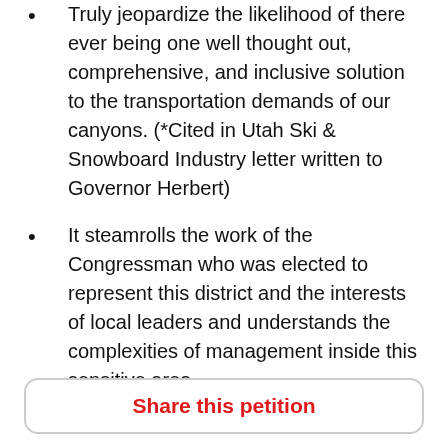Truly jeopardize the likelihood of there ever being one well thought out, comprehensive, and inclusive solution to the transportation demands of our canyons. (*Cited in Utah Ski & Snowboard Industry letter written to Governor Herbert)
It steamrolls the work of the Congressman who was elected to represent this district and the interests of local leaders and understands the complexities of management inside this sensitive area
A recent local study funded by the State of Utah, the US Forest Service, Salt Lake County, Salt Lake City and a number of other stakeholders found 94% of people in the Salt Lake Valley wanted to see no additional ski area expansion inside our watershed, exactly what HR 3452 is trying to circumvent
Share this petition